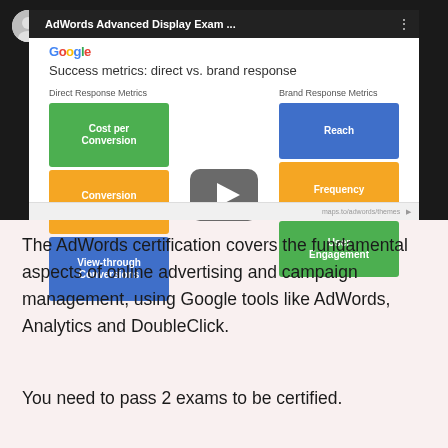[Figure (screenshot): A YouTube video thumbnail showing a Google AdWords Advanced Display Exam slide about 'Success metrics: direct vs. brand response', with a play button overlay. The slide shows two columns: Direct Response Metrics (Cost per Conversion in green, Conversion Rate in orange, View-through Conversions in blue) and Brand Response Metrics (Reach in blue, Frequency in orange, User Engagement in green).]
The AdWords certification covers the fundamental aspects of online advertising and campaign management, using Google tools like AdWords, Analytics and DoubleClick.
You need to pass 2 exams to be certified.